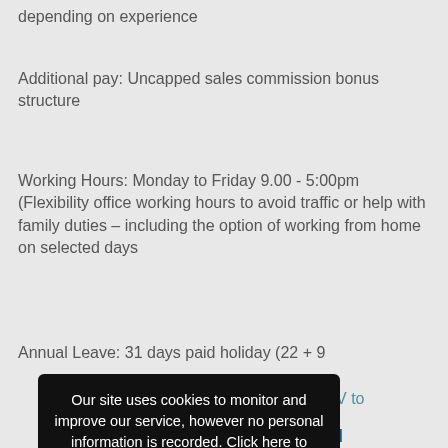depending on experience
Additional pay: Uncapped sales commission bonus structure
Working Hours: Monday to Friday 9.00 - 5:00pm
(Flexibility office working hours to avoid traffic or help with family duties – including the option of working from home on selected days
Annual Leave: 31 days paid holiday (22 + 9
letter and CV to
.om
E LTD IS AN S EMPLOYER.
Our site uses cookies to monitor and improve our service, however no personal information is recorded. Click here to learn more.
I Understand